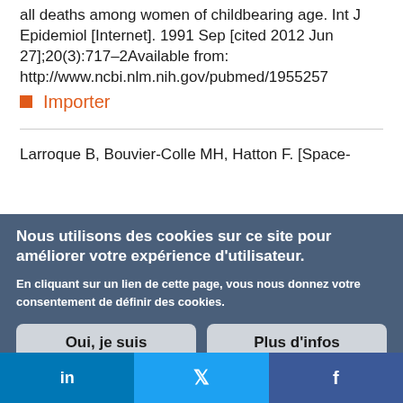all deaths among women of childbearing age. Int J Epidemiol [Internet]. 1991 Sep [cited 2012 Jun 27];20(3):717–2Available from: http://www.ncbi.nlm.nih.gov/pubmed/1955257
Importer
Larroque B, Bouvier-Colle MH, Hatton F. [Space-
Nous utilisons des cookies sur ce site pour améliorer votre expérience d'utilisateur.

En cliquant sur un lien de cette page, vous nous donnez votre consentement de définir des cookies.

Oui, je suis d'accord | Plus d'infos